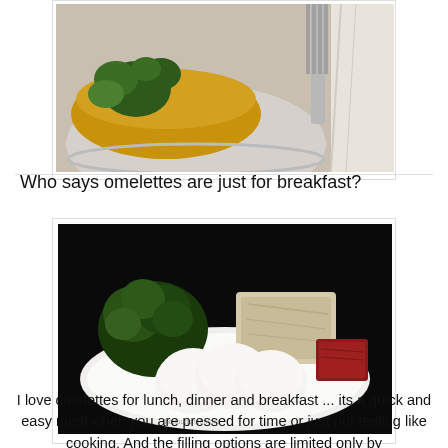[Figure (photo): Top portion of a food photo showing a sandwich or wrap with broccoli on a plate, with a fork and napkin visible]
Who says omelettes are just for breakfast?
[Figure (photo): A white plate on a dark background holding three white eggs, a head of broccoli, a block of tofu or cheese, and a piece of red meat (possibly salmon or ham)]
I love omelettes for lunch, dinner and breakfast ... its a quick and easy meal when you are pressed for time or just not feeling like cooking. And the filling options are limited only by